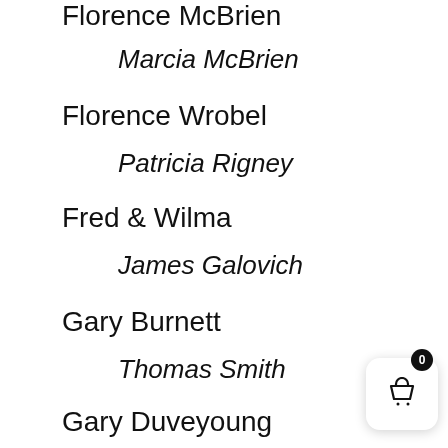Florence McBrien
Marcia McBrien
Florence Wrobel
Patricia Rigney
Fred & Wilma
James Galovich
Gary Burnett
Thomas Smith
Gary Duveyoung